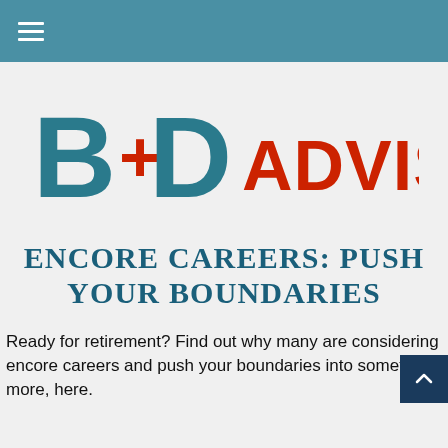[Figure (logo): B+D Advisors logo with teal B and D letterforms and red ADVISORS text]
ENCORE CAREERS: PUSH YOUR BOUNDARIES
Ready for retirement? Find out why many are considering encore careers and push your boundaries into something more, here.